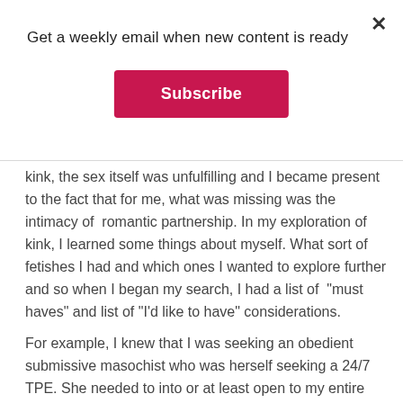Get a weekly email when new content is ready
Subscribe
kink, the sex itself was unfulfilling and I became present to the fact that for me, what was missing was the intimacy of romantic partnership. In my exploration of kink, I learned some things about myself. What sort of fetishes I had and which ones I wanted to explore further and so when I began my search, I had a list of "must haves" and list of "I'd like to have" considerations.
For example, I knew that I was seeking an obedient submissive masochist who was herself seeking a 24/7 TPE. She needed to into or at least open to my entire fetish list. That was the start of